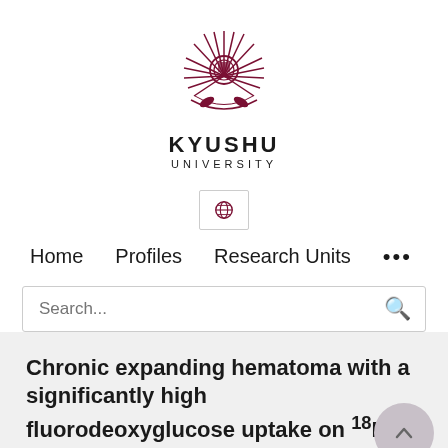[Figure (logo): Kyushu University logo — dark red/maroon sunburst crest with stylized leaves and central emblem]
KYUSHU UNIVERSITY
[Figure (other): Globe/language selector icon button]
Home   Profiles   Research Units   ...
Search...
Chronic expanding hematoma with a significantly high fluorodeoxyglucose uptake on 18F-fluorodeoxyglucose positron